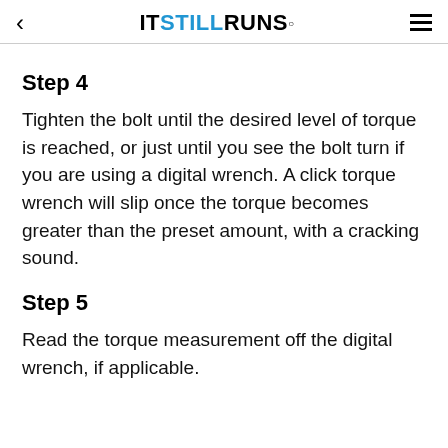ITSTILLRUNS.
Step 4
Tighten the bolt until the desired level of torque is reached, or just until you see the bolt turn if you are using a digital wrench. A click torque wrench will slip once the torque becomes greater than the preset amount, with a cracking sound.
Step 5
Read the torque measurement off the digital wrench, if applicable.